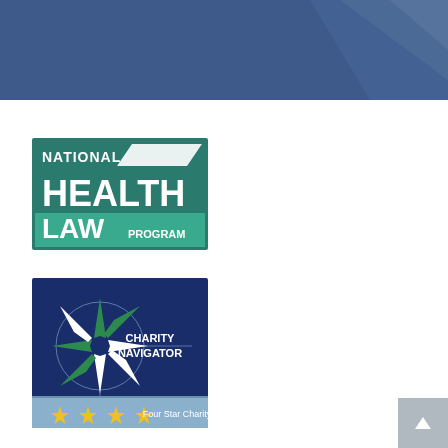[Figure (illustration): Dark blue header banner with a subtle diagonal lighter blue geometric shape on the right side]
[Figure (logo): National Health Law Program logo — teal/green rectangle with white text reading NATIONAL HEALTH LAW PROGRAM with a white parallelogram accent shape]
[Figure (logo): Charity Navigator Four Star Charity badge — dark navy blue square with a compass star in green and white, text CHARITY NAVIGATOR, and four gold stars with text Four Star Charity on a light blue-gray band at the bottom]